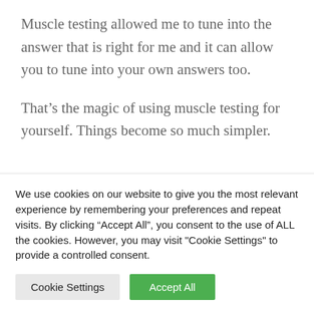Muscle testing allowed me to tune into the answer that is right for me and it can allow you to tune into your own answers too.
That’s the magic of using muscle testing for yourself. Things become so much simpler. You can rest in the knowing that the answer can come from within you. Your entire being can relax as you live this new way of being.
We use cookies on our website to give you the most relevant experience by remembering your preferences and repeat visits. By clicking “Accept All”, you consent to the use of ALL the cookies. However, you may visit “Cookie Settings” to provide a controlled consent.